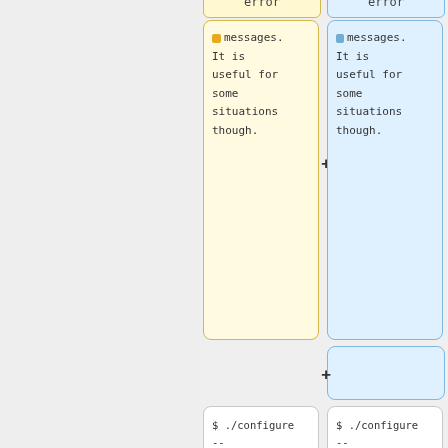[Figure (screenshot): A diff/comparison view showing two columns of code blocks. Left column has yellow-tinted boxes (old version) and right column has blue-tinted boxes (new version). Content includes: 'error' boxes at top (cut off), 'messages. It is useful for some situations though.' text blocks with minus/plus diff indicators, an empty new blue box with plus, and code blocks showing '$ ./configure --cc=/opt/gcc34/bin/gcc --target-list=i386-softmmu && make' and '$ make install' commands.]